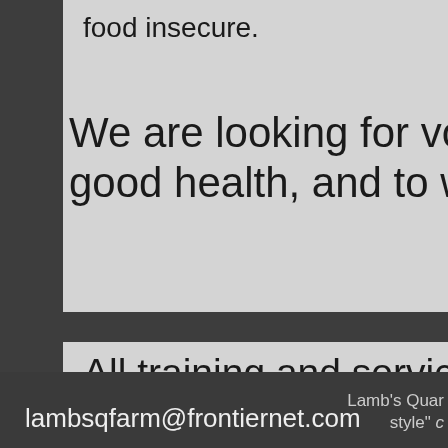food insecure.
We are looking for volunteers to help good health, and to work with trainee
All training and services are offered populations.  Ownership of LQfarm products, meat, eggs, etc.) is also a individual agreement.  Agreements the trainee and the farm.
lambsqfarm@frontiernet.com   Lamb's Quar style"